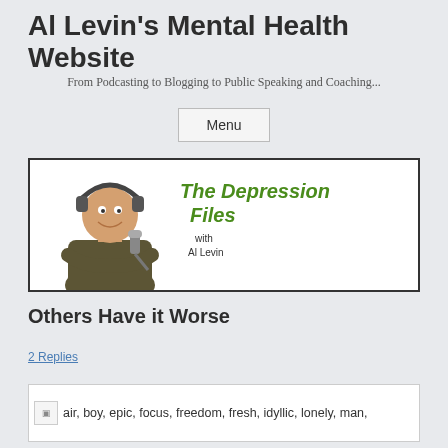Al Levin's Mental Health Website
From Podcasting to Blogging to Public Speaking and Coaching...
Menu
[Figure (photo): Banner image for 'The Depression Files with Al Levin' podcast, showing a man with headphones and a microphone, with green italic text reading 'The Depression Files with Al Levin']
Others Have it Worse
2 Replies
[Figure (photo): Broken image placeholder with alt text: air, boy, epic, focus, freedom, fresh, idyllic, lonely, man,]